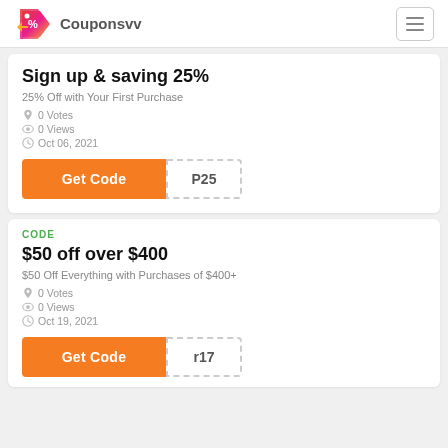Couponsvv
Sign up & saving 25%
25% Off with Your First Purchase
0 Votes
0 Views
Oct 06, 2021
Get Code P25
CODE
$50 off over $400
$50 Off Everything with Purchases of $400+
0 Votes
0 Views
Oct 19, 2021
Get Code r17